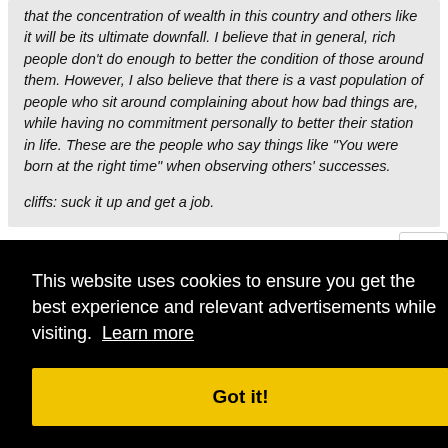that the concentration of wealth in this country and others like it will be its ultimate downfall. I believe that in general, rich people don't do enough to better the condition of those around them. However, I also believe that there is a vast population of people who sit around complaining about how bad things are, while having no commitment personally to better their station in life. These are the people who say things like "You were born at the right time" when observing others' successes.

cliffs: suck it up and get a job.
good thing we have you here who has figured it all out to
This website uses cookies to ensure you get the best experience and relevant advertisements while visiting. Learn more
Got it!
#472
veteran